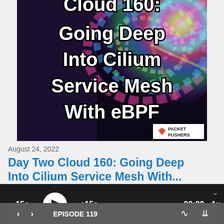[Figure (illustration): Podcast cover art showing colorful holographic/iridescent background with large bold white text reading 'Cloud 160: Going Deep Into Cilium Service Mesh With eBPF' and Packet Pushers logo in bottom right corner]
August 24, 2022
Day Two Cloud 160: Going Deep Into Cilium Service Mesh With...
[Figure (screenshot): Podcast audio player interface with -15s, play button, +15s, progress bar, 00:00 timestamp, and 1x speed control on dark background]
< > EPISODE 119